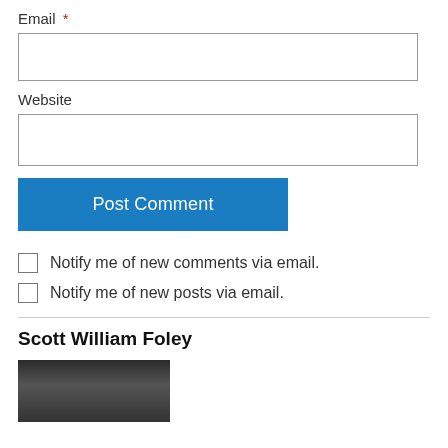Email *
[email input field]
Website
[website input field]
Post Comment
Notify me of new comments via email.
Notify me of new posts via email.
Scott William Foley
[Figure (photo): Portrait photo of Scott William Foley, a man with glasses in front of bookshelves]